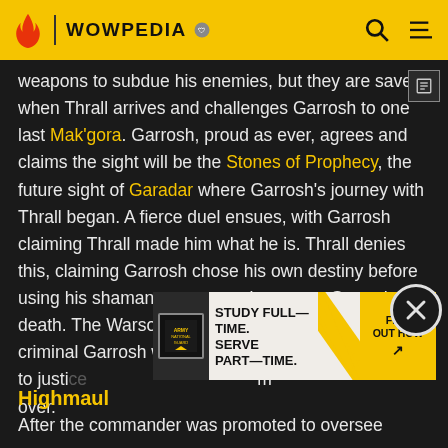WOWPEDIA
weapons to subdue his enemies, but they are saved when Thrall arrives and challenges Garrosh to one last Mak'gora. Garrosh, proud as ever, agrees and claims the sight will be the Stones of Prophecy, the future sight of Garadar where Garrosh's journey with Thrall began. A fierce duel ensues, with Garrosh claiming Thrall made him what he is. Thrall denies this, claiming Garrosh chose his own destiny before using his shaman powers to electrocute Garrosh to death. The Warsong were defeated and the war criminal Garrosh was finally brought to justice, with Thrall returning home from over.
[Figure (other): Army National Guard advertisement: STUDY FULL-TIME. SERVE PART-TIME. FIND OUT HOW]
Highmaul
After the commander was promoted to oversee...